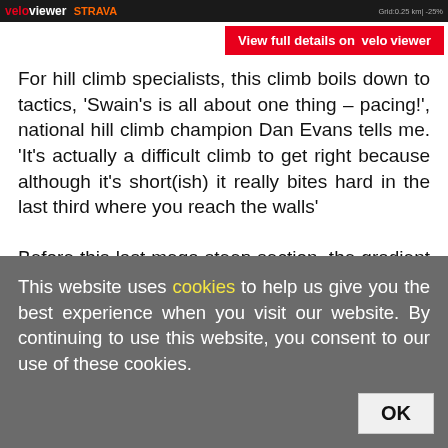[Figure (screenshot): Top navigation banner with VeloViewer and Strava logos, and small grid text]
View full details on veloviewer
For hill climb specialists, this climb boils down to tactics, ‘Swain’s is all about one thing – pacing!’, national hill climb champion Dan Evans tells me. ‘It’s actually a difficult climb to get right because although it’s short(ish) it really bites hard in the last third where you reach the walls’
Before this last mega steep section, the gradient is relatively gentle at 5-6%, so the mistake can be, and certainly one I made in my early ascents,
This website uses cookies to help us give you the best experience when you visit our website. By continuing to use this website, you consent to our use of these cookies.
OK